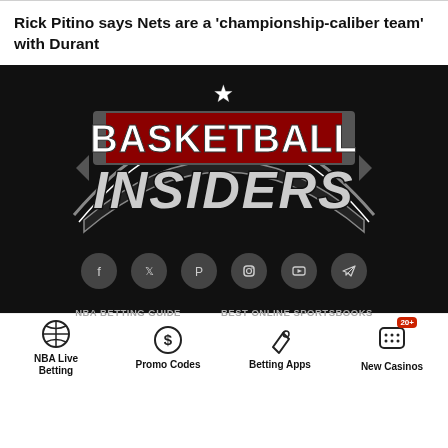Rick Pitino says Nets are a ‘championship-caliber team’ with Durant
[Figure (logo): Basketball Insiders logo on black background with social media icons below]
NBA Live Betting | Promo Codes | Betting Apps | New Casinos